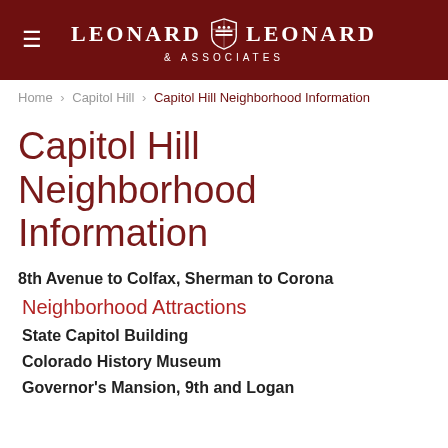Leonard Leonard & Associates
Home > Capitol Hill > Capitol Hill Neighborhood Information
Capitol Hill Neighborhood Information
8th Avenue to Colfax, Sherman to Corona
Neighborhood Attractions
State Capitol Building
Colorado History Museum
Governor's Mansion, 9th and Logan